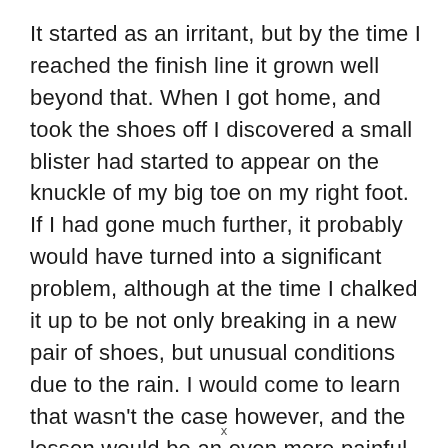It started as an irritant, but by the time I reached the finish line it grown well beyond that. When I got home, and took the shoes off I discovered a small blister had started to appear on the knuckle of my big toe on my right foot. If I had gone much further, it probably would have turned into a significant problem, although at the time I chalked it up to be not only breaking in a new pair of shoes, but unusual conditions due to the rain. I would come to learn that wasn't the case however, and the lesson would be an even more painful one.
x